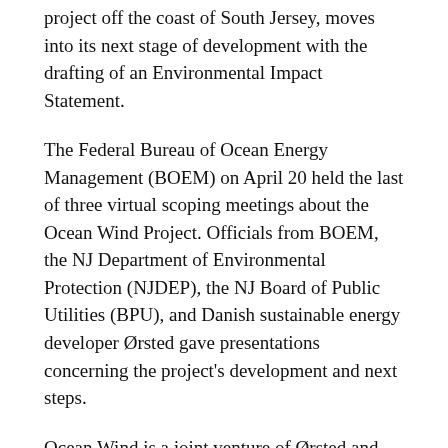project off the coast of South Jersey, moves into its next stage of development with the drafting of an Environmental Impact Statement.
The Federal Bureau of Ocean Energy Management (BOEM) on April 20 held the last of three virtual scoping meetings about the Ocean Wind Project. Officials from BOEM, the NJ Department of Environmental Protection (NJDEP), the NJ Board of Public Utilities (BPU), and Danish sustainable energy developer Ørsted gave presentations concerning the project's development and next steps.
Ocean Wind is a joint venture of Ørsted and PSEG, a New Jersey utility company. The project consists of a wind farm located off the shore of South Jersey.